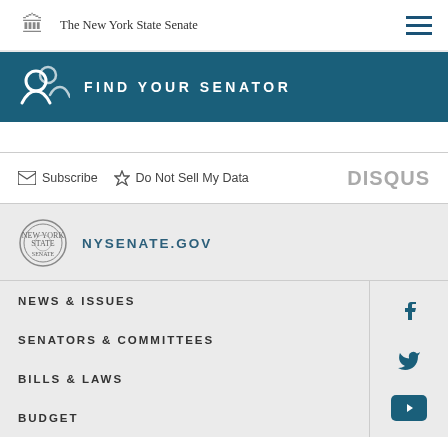The New York State Senate
FIND YOUR SENATOR
Subscribe   Do Not Sell My Data   DISQUS
[Figure (logo): New York State Senate seal logo with NYSENATE.GOV text]
NEWS & ISSUES
SENATORS & COMMITTEES
BILLS & LAWS
BUDGET